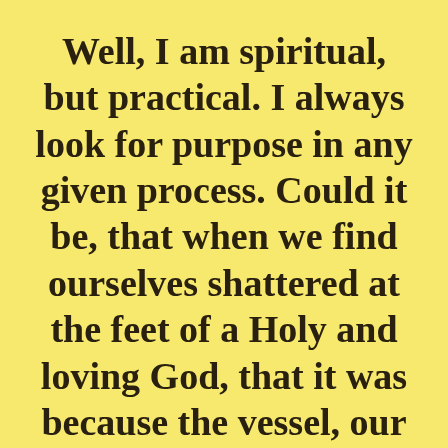Well, I am spiritual, but practical. I always look for purpose in any given process. Could it be, that when we find ourselves shattered at the feet of a Holy and loving God, that it was because the vessel, our